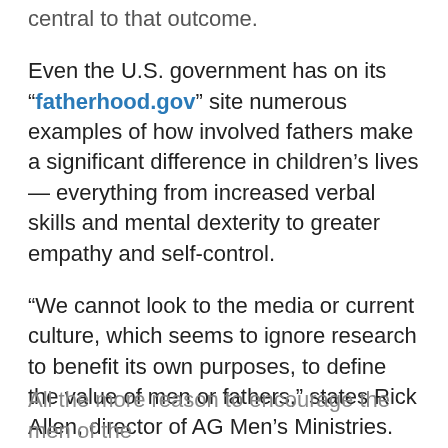central to that outcome.
Even the U.S. government has on its “fatherhood.gov” site numerous examples of how involved fathers make a significant difference in children’s lives — everything from increased verbal skills and mental dexterity to greater empathy and self-control.
“We cannot look to the media or current culture, which seems to ignore research to benefit its own purposes, to define the value of men or fathers,” states Rick Allen, director of AG Men’s Ministries. “The Church must confirm the value God places on being a good father. In reality, today’s research on the importance of involved fathers simply confirms what the Bible has said all along.”
All the more reason to encourage the men of the